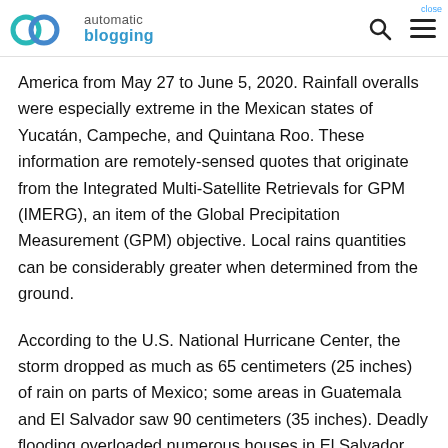automatic blogging
America from May 27 to June 5, 2020. Rainfall overalls were especially extreme in the Mexican states of Yucatán, Campeche, and Quintana Roo. These information are remotely-sensed quotes that originate from the Integrated Multi-Satellite Retrievals for GPM (IMERG), an item of the Global Precipitation Measurement (GPM) objective. Local rains quantities can be considerably greater when determined from the ground.
According to the U.S. National Hurricane Center, the storm dropped as much as 65 centimeters (25 inches) of rain on parts of Mexico; some areas in Guatemala and El Salvador saw 90 centimeters (35 inches). Deadly flooding overloaded numerous houses in El Salvador...